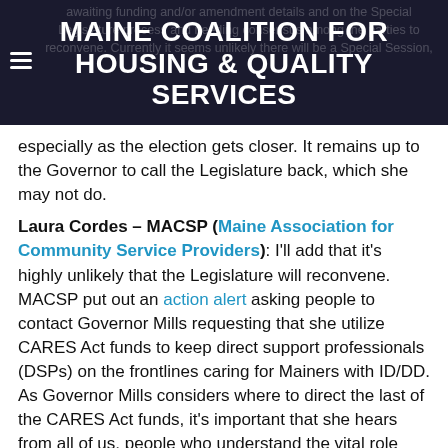MAINE COALITION FOR HOUSING & QUALITY SERVICES
awaiting funding and/or amendment details and on the Special Legislature process and needing consensus among the parties to reconvene. Currently it seems unlikely there will be a Special Session, especially as the election gets closer. It remains up to the Governor to call the Legislature back, which she may not do.
Laura Cordes – MACSP (Maine Association for Community Service Providers): I'll add that it's highly unlikely that the Legislature will reconvene. MACSP put out an action alert asking people to contact Governor Mills requesting that she utilize CARES Act funds to keep direct support professionals (DSPs) on the frontlines caring for Mainers with ID/DD. As Governor Mills considers where to direct the last of the CARES Act funds, it's important that she hears from all of us, people who understand the vital role that DSPs have in keeping vulnerable and high-